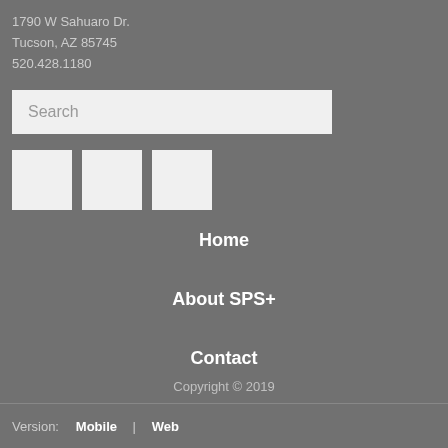1790 W Sahuaro Dr.
Tucson, AZ 85745
520.428.1180
[Figure (screenshot): Search input box with placeholder text 'Search']
[Figure (other): Three white square social media icon placeholders]
Home
About SPS+
Contact
Copyright © 2019
Version:   Mobile  |  Web